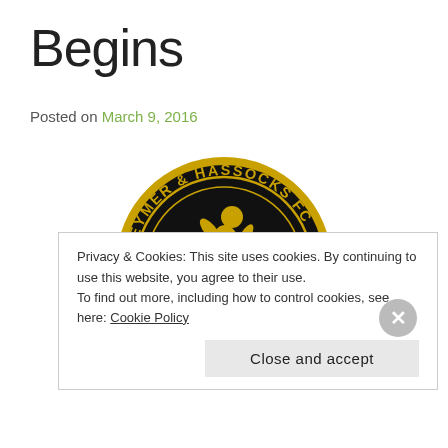Begins
Posted on March 9, 2016
[Figure (logo): Keymer & Hassocks FC circular badge — black circle with gold footballer silhouette and text 'KEYMER & HASSOCKS FC' around the top and 'ESTABLISHED 2003' along the bottom]
Privacy & Cookies: This site uses cookies. By continuing to use this website, you agree to their use.
To find out more, including how to control cookies, see here: Cookie Policy
Close and accept